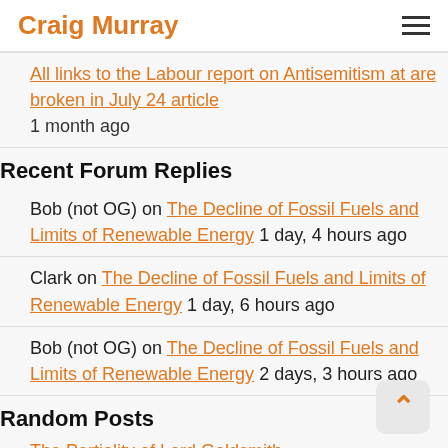Craig Murray
All links to the Labour report on Antisemitism at are broken in July 24 article
1 month ago
Recent Forum Replies
Bob (not OG) on The Decline of Fossil Fuels and Limits of Renewable Energy 1 day, 4 hours ago
Clark on The Decline of Fossil Fuels and Limits of Renewable Energy 1 day, 6 hours ago
Bob (not OG) on The Decline of Fossil Fuels and Limits of Renewable Energy 2 days, 3 hours ago
Random Posts
The Partiality of Lord Goldsmith
Official Secrets Act Convictions
The Armoured Glass Box is an Instrument of